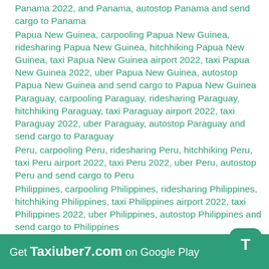Panama 2022, and Panama, autostop Panama and send cargo to Panama
Papua New Guinea, carpooling Papua New Guinea, ridesharing Papua New Guinea, hitchhiking Papua New Guinea, taxi Papua New Guinea airport 2022, taxi Papua New Guinea 2022, uber Papua New Guinea, autostop Papua New Guinea and send cargo to Papua New Guinea
Paraguay, carpooling Paraguay, ridesharing Paraguay, hitchhiking Paraguay, taxi Paraguay airport 2022, taxi Paraguay 2022, uber Paraguay, autostop Paraguay and send cargo to Paraguay
Peru, carpooling Peru, ridesharing Peru, hitchhiking Peru, taxi Peru airport 2022, taxi Peru 2022, uber Peru, autostop Peru and send cargo to Peru
Philippines, carpooling Philippines, ridesharing Philippines, hitchhiking Philippines, taxi Philippines airport 2022, taxi Philippines 2022, uber Philippines, autostop Philippines and send cargo to Philippines
Poland, carpooling Poland, ridesharing Poland, hitchhiking Poland, taxi Poland airport 2022, taxi Poland 2022, uber Poland, autostop Poland and send cargo to Poland
Portugal, carpooling Portugal, ridesharing Portugal, hitchhiking Portugal, taxi Portugal airport 2022, taxi Portugal 2022, uber Portugal, autostop Portugal and
Get Taxiuber7.com on Google Play